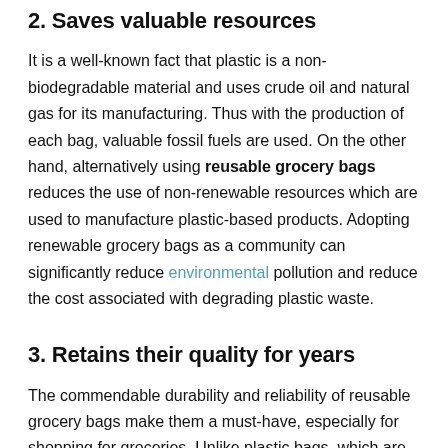2. Saves valuable resources
It is a well-known fact that plastic is a non-biodegradable material and uses crude oil and natural gas for its manufacturing. Thus with the production of each bag, valuable fossil fuels are used. On the other hand, alternatively using reusable grocery bags reduces the use of non-renewable resources which are used to manufacture plastic-based products. Adopting renewable grocery bags as a community can significantly reduce environmental pollution and reduce the cost associated with degrading plastic waste.
3. Retains their quality for years
The commendable durability and reliability of reusable grocery bags make them a must-have, especially for shopping for groceries. Unlike plastic bags, which are likely